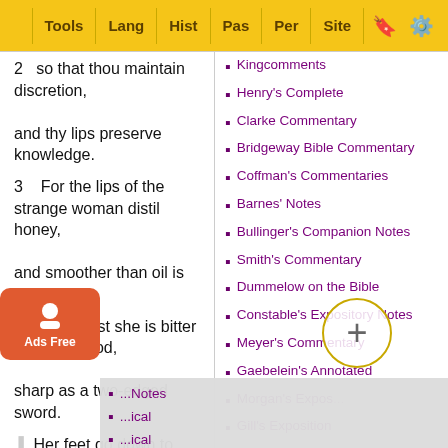Tools | Lang | Hist | Pas | Per | Site
2   so that thou maintain discretion,

and thy lips preserve knowledge.

3    For the lips of the strange woman distil honey,

and smoother than oil is her mouth:

4    but at last she is bitter as wormwood,

sharp as a two-edged sword.

5    Her feet go down to death,

      her steps lay hold upon the lower world

6   th
Kingcomments
Henry's Complete
Clarke Commentary
Bridgeway Bible Commentary
Coffman's Commentaries
Barnes' Notes
Bullinger's Companion Notes
Smith's Commentary
Dummelow on the Bible
Constable's Expository Notes
Meyer's Commentary
Gaebelein's Annotated
Morgan's Expos...
Gill's Exposition
...Notes
...ical
...ical